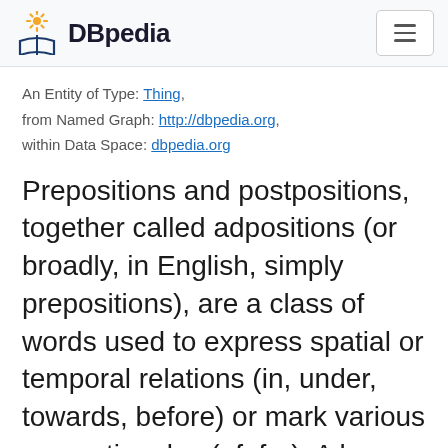DBpedia
An Entity of Type: Thing, from Named Graph: http://dbpedia.org, within Data Space: dbpedia.org
Prepositions and postpositions, together called adpositions (or broadly, in English, simply prepositions), are a class of words used to express spatial or temporal relations (in, under, towards, before) or mark various semantic roles (of, for). A less common type of adposition is the circumposition, which consists of two parts that appear on each side of the complement. Other terms sometimes used for...